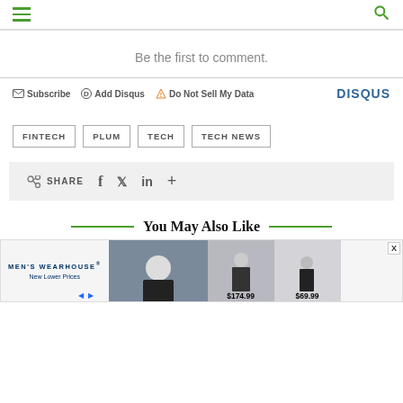Navigation bar with hamburger menu and search icon
Be the first to comment.
Subscribe  Add Disqus  Do Not Sell My Data  DISQUS
FINTECH
PLUM
TECH
TECH NEWS
SHARE  f  in  +
You May Also Like
[Figure (other): Men's Wearhouse advertisement banner with suit photos and prices $174.99 and $69.99]